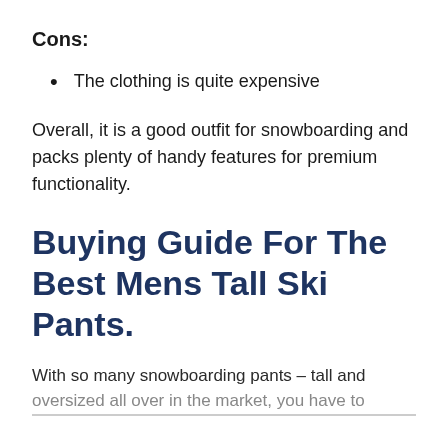Cons:
The clothing is quite expensive
Overall, it is a good outfit for snowboarding and packs plenty of handy features for premium functionality.
Buying Guide For The Best Mens Tall Ski Pants.
With so many snowboarding pants – tall and oversized all over in the market, you have to